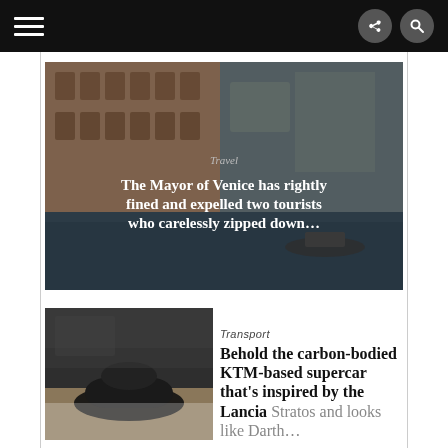Navigation bar with menu, share, and search icons
[Figure (photo): Venice canal scene with historic buildings and boats on water, overlaid with article metadata]
Travel
The Mayor of Venice has rightly fined and expelled two tourists who carelessly zipped down…
[Figure (photo): Thumbnail image of a dark futuristic supercar or vehicle in an indoor setting]
Transport
Behold the carbon-bodied KTM-based supercar that's inspired by the Lancia Stratos and looks like Darth…